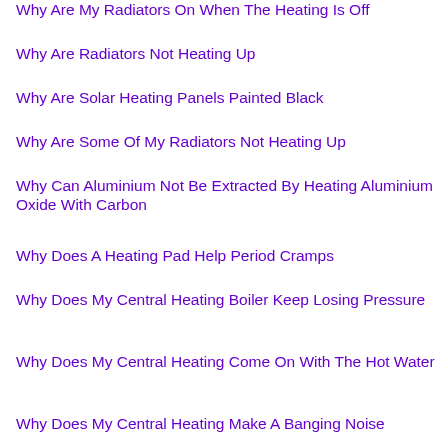Why Are My Radiators On When The Heating Is Off
Why Are Radiators Not Heating Up
Why Are Solar Heating Panels Painted Black
Why Are Some Of My Radiators Not Heating Up
Why Can Aluminium Not Be Extracted By Heating Aluminium Oxide With Carbon
Why Does A Heating Pad Help Period Cramps
Why Does My Central Heating Boiler Keep Losing Pressure
Why Does My Central Heating Come On With The Hot Water
Why Does My Central Heating Make A Banging Noise
Why Does My Central Heating Make A Noise